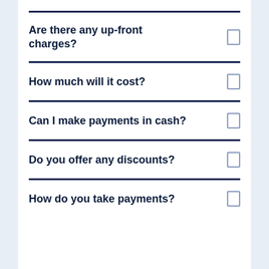Are there any up-front charges?
How much will it cost?
Can I make payments in cash?
Do you offer any discounts?
How do you take payments?